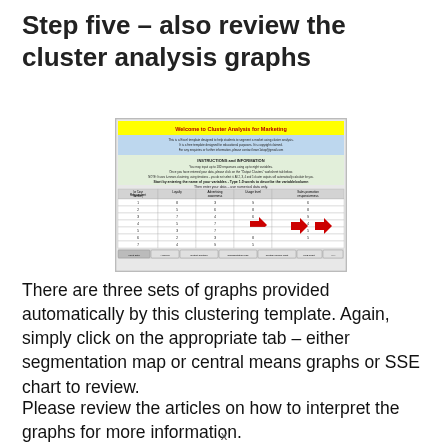Step five – also review the cluster analysis graphs
[Figure (screenshot): Screenshot of an Excel spreadsheet titled 'Welcome to Cluster Analysis for Marketing' showing a cluster analysis template with yellow header, blue info section, green instructions section, and a data table with respondent data. Red arrows point to tabs at the bottom.]
There are three sets of graphs provided automatically by this clustering template. Again, simply click on the appropriate tab – either segmentation map or central means graphs or SSE chart to review.
Please review the articles on how to interpret the graphs for more information.
x